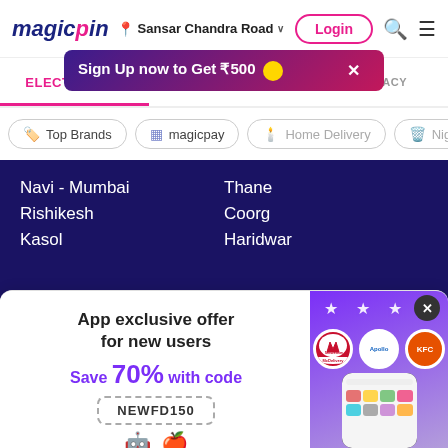magicpin | Sansar Chandra Road | Login
Sign Up now to Get ₹500
ELECTRONICS | RESTAURANT | PHARMACY
Top Brands
magicpay
Home Delivery
Night L
Navi - Mumbai
Rishikesh
Kasol
Thane
Coorg
Haridwar
[Figure (screenshot): App exclusive offer banner for new users. Save 70% with code NEWFD150. Download app now button. Shows McDelivery, Apollo, KFC brand logos and a phone screenshot.]
App exclusive offer for new users
Save 70% with code
NEWFD150
Download app now